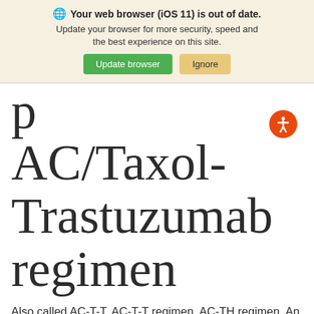[Figure (screenshot): Browser update banner with globe icon, bold title 'Your web browser (iOS 11) is out of date.', subtitle text, and two buttons: 'Update browser' (green) and 'Ignore' (tan/yellow).]
AC/Taxol-Trastuzumab regimen
Also called AC-T-T, AC-T-T regimen, AC-TH regimen. An abbreviation for a chemotherapy combination used to treat breast cancer. It includes